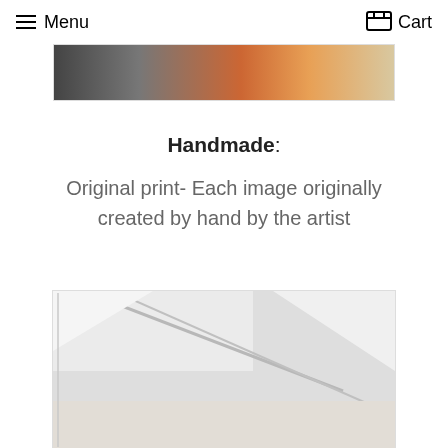Menu  Cart
[Figure (photo): Top portion of a product photo showing colorful artwork, partially cropped at top]
Handmade: Original print- Each image originally created by hand by the artist
[Figure (photo): Close-up photo of white geometric artwork or canvas with angular shapes and subtle shadows]